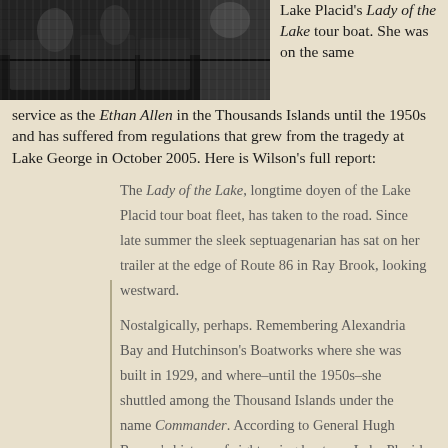[Figure (photo): Black and white photograph of what appears to be a boat or dock scene with barrels or containers visible.]
Lake Placid's Lady of the Lake tour boat. She was on the same service as the Ethan Allen in the Thousands Islands until the 1950s and has suffered from regulations that grew from the tragedy at Lake George in October 2005. Here is Wilson's full report:
The Lady of the Lake, longtime doyen of the Lake Placid tour boat fleet, has taken to the road. Since late summer the sleek septuagenarian has sat on her trailer at the edge of Route 86 in Ray Brook, looking westward.
Nostalgically, perhaps. Remembering Alexandria Bay and Hutchinson's Boatworks where she was built in 1929, and where–until the 1950s–she shuttled among the Thousand Islands under the name Commander. According to General Hugh Rowan's history of sightseeing boats on Lake Placid Lake Placid, Charles C. Grote